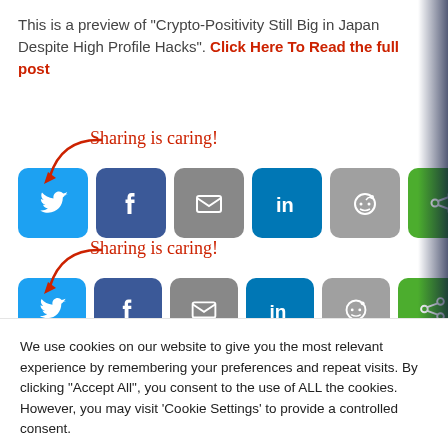This is a preview of "Crypto-Positivity Still Big in Japan Despite High Profile Hacks". Click Here To Read the full post
[Figure (infographic): Sharing is caring! social share buttons: Twitter, Facebook, Email, LinkedIn, Reddit, share (first row)]
[Figure (infographic): Sharing is caring! social share buttons: Twitter, Facebook, Email, LinkedIn, Reddit, share (second row, partially visible)]
We use cookies on our website to give you the most relevant experience by remembering your preferences and repeat visits. By clicking "Accept All", you consent to the use of ALL the cookies. However, you may visit 'Cookie Settings' to provide a controlled consent.
Cookie Settings | Accept All